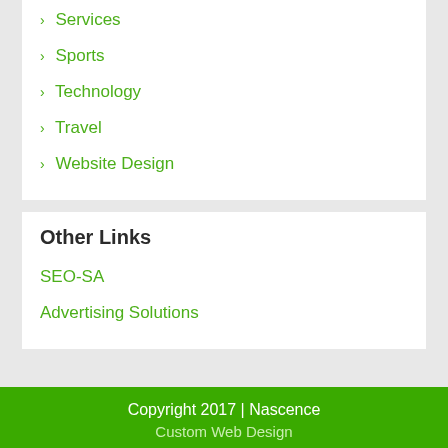> Services
> Sports
> Technology
> Travel
> Website Design
Other Links
SEO-SA
Advertising Solutions
Copyright 2017 | Nascence
Custom Web Design